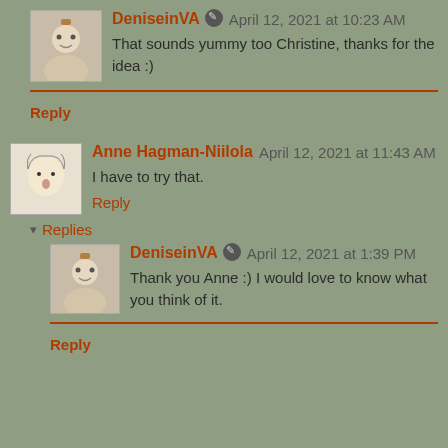DeniseinVA April 12, 2021 at 10:23 AM
That sounds yummy too Christine, thanks for the idea :)
Reply
Anne Hagman-Niilola April 12, 2021 at 11:43 AM
I have to try that.
Reply
Replies
DeniseinVA April 12, 2021 at 1:39 PM
Thank you Anne :) I would love to know what you think of it.
Reply